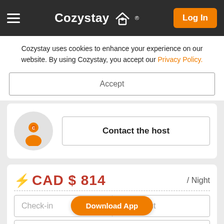Cozystay® Log In
Cozystay uses cookies to enhance your experience on our website. By using Cozystay, you accept our Privacy Policy.
Accept
[Figure (illustration): Orange user avatar icon inside a grey circle]
Contact the host
⚡ CAD $ 814 / Night
Check-in   Check-out
Download App